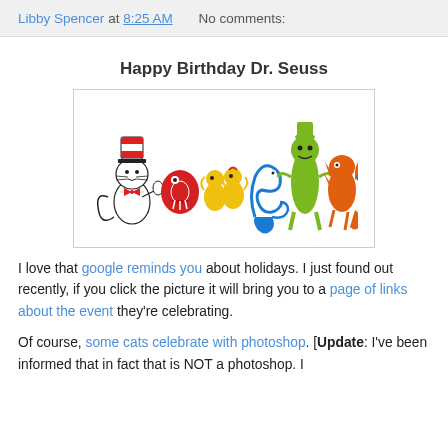Libby Spencer at 8:25 AM   No comments:
Happy Birthday Dr. Seuss
[Figure (illustration): Google Doodle for Dr. Seuss's birthday featuring Dr. Seuss characters (Cat in the Hat, Grinch, and others) forming the letters of 'Google']
I love that google reminds you about holidays. I just found out recently, if you click the picture it will bring you to a page of links about the event they're celebrating.
Of course, some cats celebrate with photoshop. [Update: I've been informed that in fact that is NOT a photoshop. I